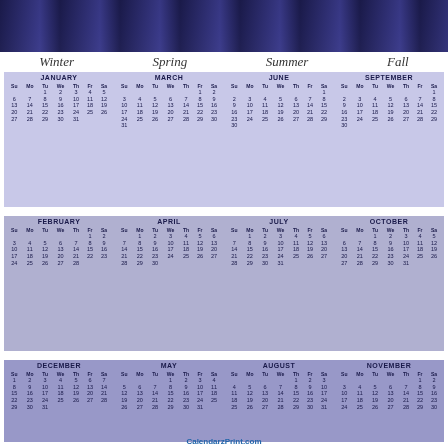[Figure (photo): City skyline at night, aerial view]
Winter   Spring   Summer   Fall
| JANUARY | MARCH | JUNE | SEPTEMBER |
| --- | --- | --- | --- |
| FEBRUARY | APRIL | JULY | OCTOBER |
| --- | --- | --- | --- |
| DECEMBER | MAY | AUGUST | NOVEMBER |
| --- | --- | --- | --- |
CalendarzPrint.com